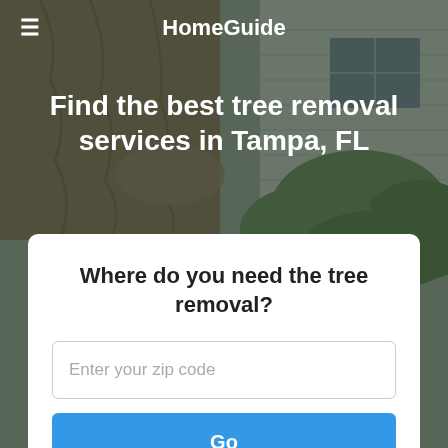[Figure (photo): Background photo of a person working on a tree near a house with green foliage, overlaid with a dark semi-transparent filter]
HomeGuide
Find the best tree removal services in Tampa, FL
Where do you need the tree removal?
Enter your zip code
Go